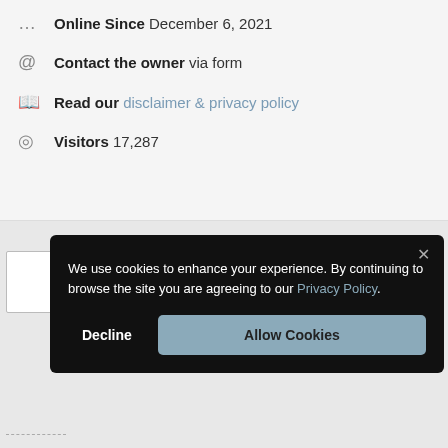Online Since December 6, 2021
Contact the owner via form
Read our disclaimer & privacy policy
Visitors 17,287
We use cookies to enhance your experience. By continuing to browse the site you are agreeing to our Privacy Policy.
Decline
Allow Cookies